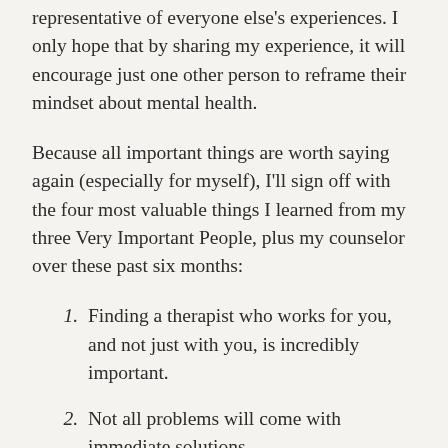representative of everyone else's experiences. I only hope that by sharing my experience, it will encourage just one other person to reframe their mindset about mental health.
Because all important things are worth saying again (especially for myself), I'll sign off with the four most valuable things I learned from my three Very Important People, plus my counselor over these past six months:
Finding a therapist who works for you, and not just with you, is incredibly important.
Not all problems will come with immediate solutions.
There is nothing wrong with going to a counselor/therapist/psychologist.